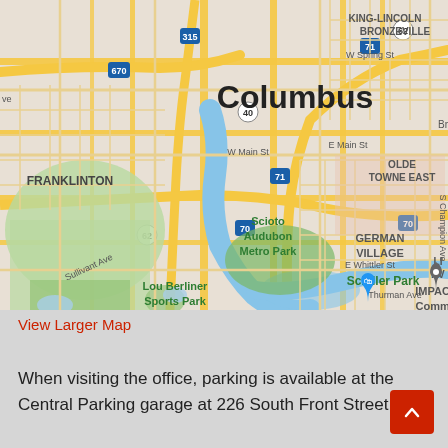[Figure (map): Google Maps screenshot showing Columbus, Ohio area including Franklinton, German Village, Scioto Audubon Metro Park, Schiller Park, Lou Berliner Sports Park, Merion Village, Olde Towne East, King-Lincoln Bronzeville neighborhoods, with highway routes 670, 315, 40, 70, 71, 62, 70, and streets including W Spring St, W Main St, E Main St, Sullivant Ave, E Whittler St, Thurman Ave, S Champion Ave. An IMPACT Community marker and a shopping bag pin are visible.]
View Larger Map
When visiting the office, parking is available at the Central Parking garage at 226 South Front Street.